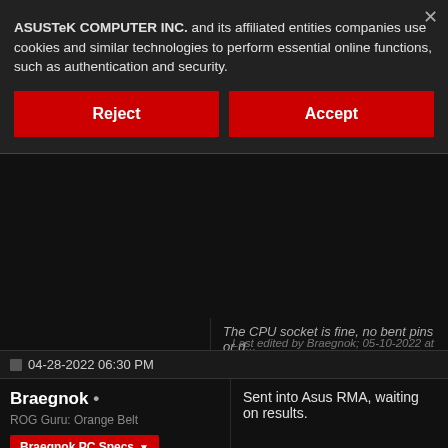ASUSTeK COMPUTER INC. and its affiliated entities companies use cookies and similar technologies to perform essential online functions, such as authentication and security.
Reject
Accept
The CPU socket is fine, no bent pins or d...
Last edited by Braegnok; 05-10-2022 at 02:08 AM
04-28-2022 06:30 PM
Braegnok •
ROG Guru: Orange Belt
Braegnok PC Specs ▼
Sent into Asus RMA, waiting on results.